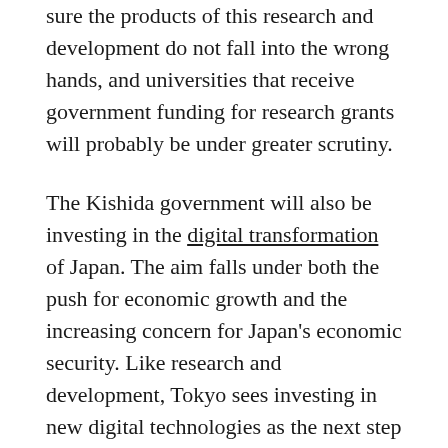sure the products of this research and development do not fall into the wrong hands, and universities that receive government funding for research grants will probably be under greater scrutiny.
The Kishida government will also be investing in the digital transformation of Japan. The aim falls under both the push for economic growth and the increasing concern for Japan's economic security. Like research and development, Tokyo sees investing in new digital technologies as the next step in Japan's economic future. But digital technologies, like the telecommunications industry, can be rife with uncertainty. For the government of Japan, this means making sure that the next generation of digital technologies comes from trusted vendors, to